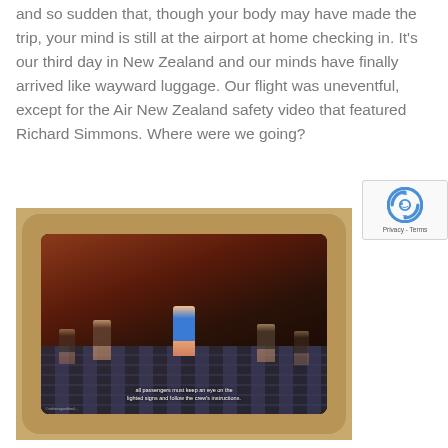and so sudden that, though your body may have made the trip, your mind is still at the airport at home checking in. It's our third day in New Zealand and our minds have finally arrived like wayward luggage. Our flight was uneventful, except for the Air New Zealand safety video that featured Richard Simmons. Where were we going?
[Figure (photo): A photo of an airplane seat-back screen showing the Air New Zealand safety video featuring people dancing in a stylized setting. The screen has a bezel and is mounted in a golden/tan colored seat-back unit. A subtitle at the bottom of the screen reads: 'all passengers must keep an eye on the lighted signs and follow the crew's instructions.' There is a small watermark at bottom left of the photo.]